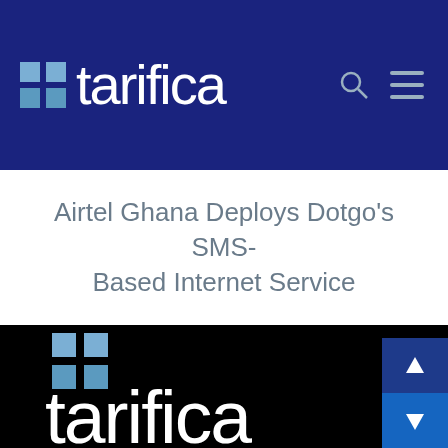tarifica (logo with navigation icons)
Airtel Ghana Deploys Dotgo’s SMS-Based Internet Service
[Figure (logo): Tarifica logo (white text on black background) with grid icon squares in light blue]
Tarifica’s products and services are powered by large scale data from the global telecom industry and a deep level of expertise gained from our singular focus. We